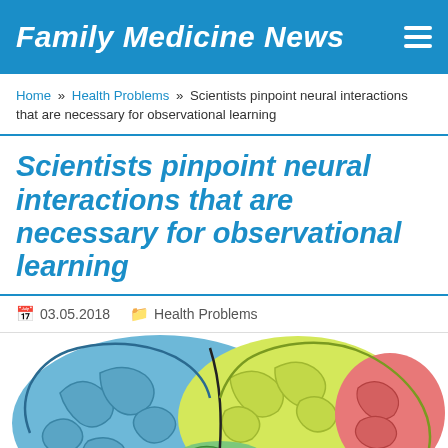Family Medicine News
Home » Health Problems » Scientists pinpoint neural interactions that are necessary for observational learning
Scientists pinpoint neural interactions that are necessary for observational learning
03.05.2018    Health Problems
[Figure (illustration): Colorful illustration of a human brain divided into labeled regions, showing blue, yellow, green, red, and pink sections.]